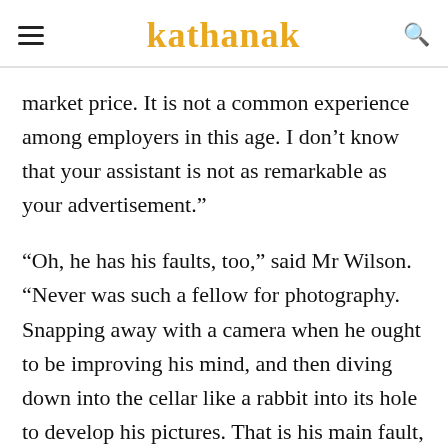kathanak
market price. It is not a common experience among employers in this age. I don’t know that your assistant is not as remarkable as your advertisement.”
“Oh, he has his faults, too,” said Mr Wilson. “Never was such a fellow for photography. Snapping away with a camera when he ought to be improving his mind, and then diving down into the cellar like a rabbit into its hole to develop his pictures. That is his main fault, but on the whole he’s a good worker. There’s no vice